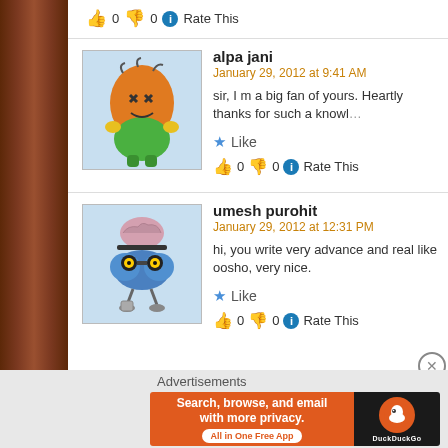👍 0 👎 0 ℹ Rate This
alpa jani
January 29, 2012 at 9:41 AM
sir, I m a big fan of yours. Heartly thanks for such a knowl…
★ Like
👍 0 👎 0 ℹ Rate This
umesh purohit
January 29, 2012 at 12:31 PM
hi, you write very advance and real like oosho, very nice.
★ Like
👍 0 👎 0 ℹ Rate This
Advertisements
[Figure (screenshot): DuckDuckGo advertisement banner: orange background with text 'Search, browse, and email with more privacy. All in One Free App' and DuckDuckGo logo on black background]